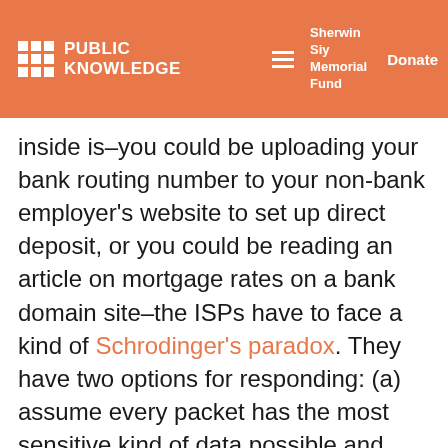PUBLIC KNOWLEDGE | Sherwin Siy Memorial Fund | Donate
inside is–you could be uploading your bank routing number to your non-bank employer's website to set up direct deposit, or you could be reading an article on mortgage rates on a bank domain site–the ISPs have to face a kind of Schrodinger's paradox. They have two options for responding: (a) assume every packet has the most sensitive kind of data possible and treat it accordingly (which they clearly do not want to do), or (b) manually inspect each packet, a hugely